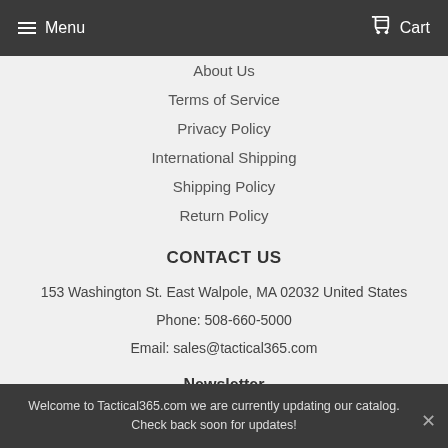Menu  Cart
About Us
Terms of Service
Privacy Policy
International Shipping
Shipping Policy
Return Policy
CONTACT US
153 Washington St. East Walpole, MA 02032 United States
Phone: 508-660-5000
Email: sales@tactical365.com
Newsletter
Promotions, new products and sales. Directly to your inbox.
Welcome to Tactical365.com we are currently updating our catalog. Check back soon for updates!